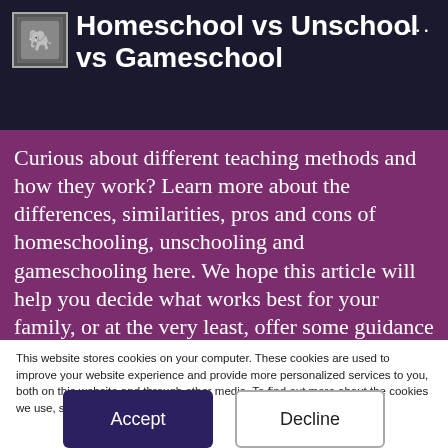Homeschool vs Unschool vs Gameschool
Curious about different teaching methods and how they work? Learn more about the differences, similarities, pros and cons of homeschooling, unschooling and gameschooling here. We hope this article will help you decide what works best for your family, or at the very least, offer some guidance on how to try these
This website stores cookies on your computer. These cookies are used to improve your website experience and provide more personalized services to you, both on this website and through other media. To find out more about the cookies we use, see our Privacy Policy.
We won't track your information when you visit our site. But in order to comply with your preferences, we'll have to use just one tiny cookie so that you're not asked to make this choice again.
Accept
Decline